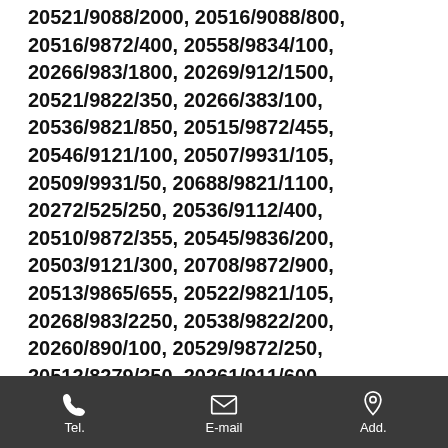20521/9088/2000, 20516/9088/800, 20516/9872/400, 20558/9834/100, 20266/983/1800, 20269/912/1500, 20521/9822/350, 20266/383/100, 20536/9821/850, 20515/9872/455, 20546/9121/100, 20507/9931/105, 20509/9931/50, 20688/9821/1100, 20272/525/250, 20536/9112/400, 20510/9872/355, 20545/9836/200, 20503/9121/300, 20708/9872/900, 20513/9865/655, 20522/9821/105, 20268/983/2250, 20538/9822/200, 20260/890/100, 20529/9872/250, 20512/8279/250, 20261/911/600, 20264/920/150, 20530/9872/805, 20514/8372/605, 20528/9821/700, 20205/984/150, 20524/9869/100, 20514/9865/1155, 20526/9832/600, 20267/951/100, 20539/9872/250, 20271/912/400, 20527/9869/150, 20557/9872/50, 20513/9836/475, 20507/9822/455, 20266/920/150, 20266/837/200,
Tel. | E-mail | Add.